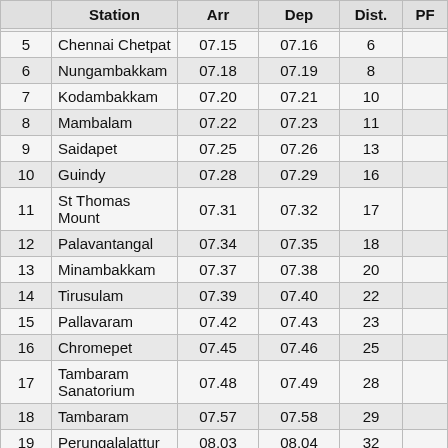|  | Station | Arr | Dep | Dist. | PF |
| --- | --- | --- | --- | --- | --- |
| 5 | Chennai Chetpat | 07.15 | 07.16 | 6 |  |
| 6 | Nungambakkam | 07.18 | 07.19 | 8 |  |
| 7 | Kodambakkam | 07.20 | 07.21 | 10 |  |
| 8 | Mambalam | 07.22 | 07.23 | 11 |  |
| 9 | Saidapet | 07.25 | 07.26 | 13 |  |
| 10 | Guindy | 07.28 | 07.29 | 16 |  |
| 11 | St Thomas Mount | 07.31 | 07.32 | 17 |  |
| 12 | Palavantangal | 07.34 | 07.35 | 18 |  |
| 13 | Minambakkam | 07.37 | 07.38 | 20 |  |
| 14 | Tirusulam | 07.39 | 07.40 | 22 |  |
| 15 | Pallavaram | 07.42 | 07.43 | 23 |  |
| 16 | Chromepet | 07.45 | 07.46 | 25 |  |
| 17 | Tambaram Sanatorium | 07.48 | 07.49 | 28 |  |
| 18 | Tambaram | 07.57 | 07.58 | 29 |  |
| 19 | Perungalalattur | 08.03 | 08.04 | 32 |  |
| 20 | Vandalur | 08.06 | 08.07 | 34 |  |
| 21 | Urappakkam | 08.10 | 08.11 | 38 |  |
| 22 | Guduvanchen | 08.14 | 08.15 | 40 |  |
| 23 | Potheri | 08.18 | 08.19 | 41 |  |